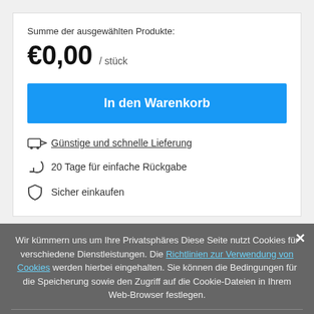Summe der ausgewählten Produkte:
€0,00 / stück
In den Warenkorb
Günstige und schnelle Lieferung
20 Tage für einfache Rückgabe
Sicher einkaufen
Wir kümmern uns um Ihre Privatsphäres Diese Seite nutzt Cookies für verschiedene Dienstleistungen. Die Richtlinien zur Verwendung von Cookies werden hierbei eingehalten. Sie können die Bedingungen für die Speicherung sowie den Zugriff auf die Cookie-Dateien in Ihrem Web-Browser festlegen.
Schließen
Rhodium überzogen · Mehr ›